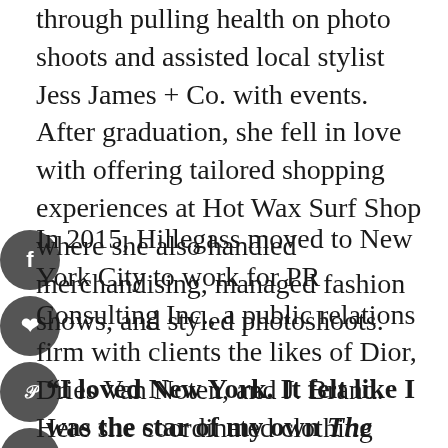...through pulling health on photo shoots and assisted local stylist Jess James + Co. with events. After graduation, she fell in love with offering tailored shopping experiences at Hot Wax Surf Shop where she also handled merchandising, managed fashion shows, and styled photoshoots.
In 2015, Hillegass moved to New York City to work for PR Consulting Inc., a public relations firm with clients the likes of Dior, Dries Van Noten, and J. Brand. Here she coordinated clothing samples for national and international publications, worked at New York Fashion Week, and managed digital and print press clippings.
“I loved New York. It felt like I was the star of my own The Devil Wears Prada moment.”